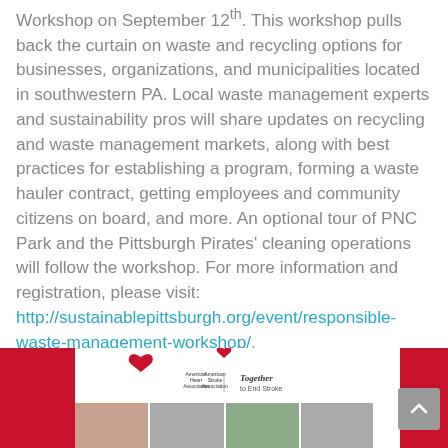Workshop on September 12th. This workshop pulls back the curtain on waste and recycling options for businesses, organizations, and municipalities located in southwestern PA. Local waste management experts and sustainability pros will share updates on recycling and waste management markets, along with best practices for establishing a program, forming a waste hauler contract, getting employees and community citizens on board, and more. An optional tour of PNC Park and the Pittsburgh Pirates' cleaning operations will follow the workshop. For more information and registration, please visit: http://sustainablepittsburgh.org/event/responsible-waste-management-workshop/.
[Figure (photo): American Heart Association / American Stroke Association banner with 'Together to End Stroke' text and photos of people at the bottom]